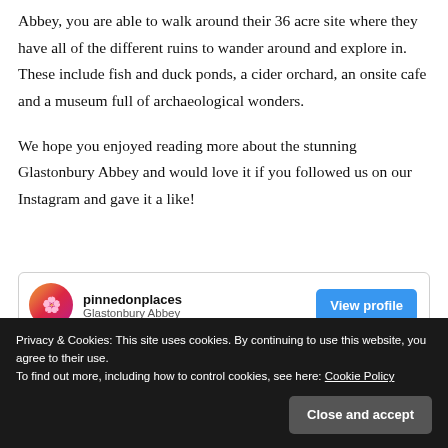Abbey, you are able to walk around their 36 acre site where they have all of the different ruins to wander around and explore in. These include fish and duck ponds, a cider orchard, an onsite cafe and a museum full of archaeological wonders.
We hope you enjoyed reading more about the stunning Glastonbury Abbey and would love it if you followed us on our Instagram and gave it a like!
[Figure (screenshot): Instagram profile widget showing pinnedonplaces account with Glastonbury Abbey subtitle and a blue View profile button]
[Figure (photo): Dark photograph showing ruins of Glastonbury Abbey at the bottom of the page]
Privacy & Cookies: This site uses cookies. By continuing to use this website, you agree to their use. To find out more, including how to control cookies, see here: Cookie Policy